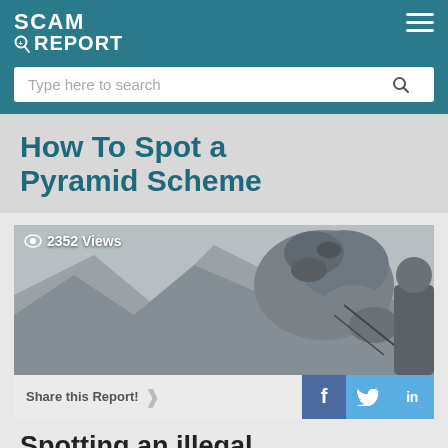SCAM REPORT
Type here to search
How To Spot a Pyramid Scheme
[Figure (photo): Black and white photo of a camel with 2352 Views badge, and Share this Report bar with Facebook, Twitter, LinkedIn icons]
Spotting an illegal pyramid scheme 101
Your social media feed is abuzz with